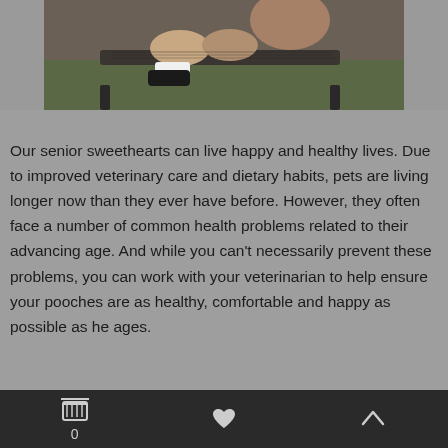[Figure (photo): Photo of a person sitting on an outdoor lounge chair on grass, only legs and shoes visible in the cropped view]
Our senior sweethearts can live happy and healthy lives. Due to improved veterinary care and dietary habits, pets are living longer now than they ever have before. However, they often face a number of common health problems related to their advancing age. And while you can't necessarily prevent these problems, you can work with your veterinarian to help ensure your pooches are as healthy, comfortable and happy as possible as he ages.
0  [heart icon]  [up arrow icon]